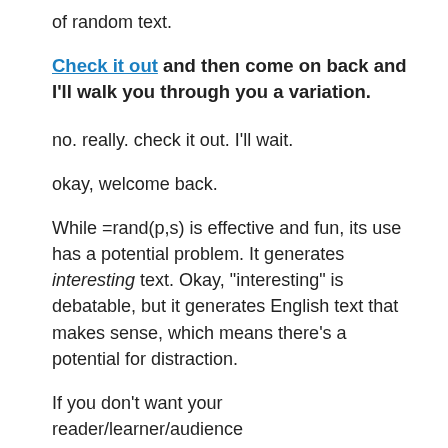of random text.
Check it out and then come on back and I'll walk you through you a variation.
no. really. check it out. I'll wait.
okay, welcome back.
While =rand(p,s) is effective and fun, its use has a potential problem. It generates interesting text. Okay, “interesting” is debatable, but it generates English text that makes sense, which means there’s a potential for distraction.
If you don’t want your reader/learner/audience